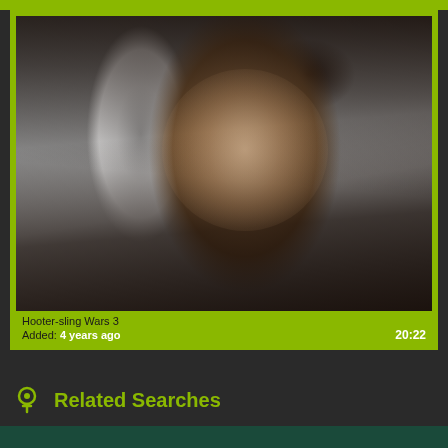[Figure (screenshot): Video thumbnail showing a dark-haired woman with eyes downcast, against a grayish background. Bottom overlay shows video title and metadata.]
Hooter-sling Wars 3
Added: 4 years ago
20:22
Related Searches